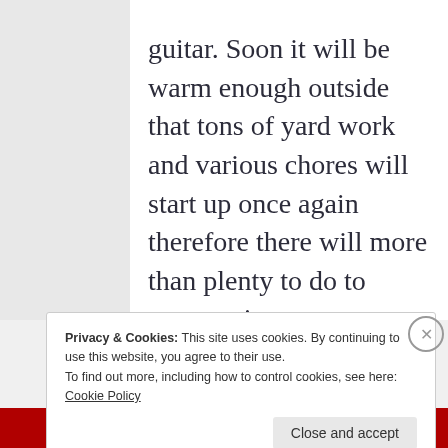guitar. Soon it will be warm enough outside that tons of yard work and various chores will start up once again therefore there will more than plenty to do to occupy time.
Privacy & Cookies: This site uses cookies. By continuing to use this website, you agree to their use.
To find out more, including how to control cookies, see here:
Cookie Policy
Close and accept